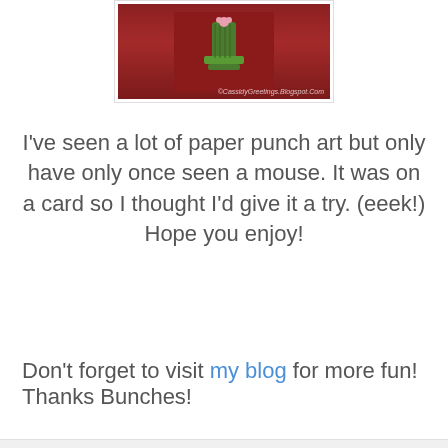[Figure (photo): A photo showing a green cupcake/cake stand or similar green object on a red background, with a watermark reading CassidyGreetings.Blogspot.Com]
I've seen a lot of paper punch art but only have only once seen a mouse. It was on a card so I thought I'd give it a try. (eeek!) Hope you enjoy!
Don't forget to visit my blog for more fun! Thanks Bunches!